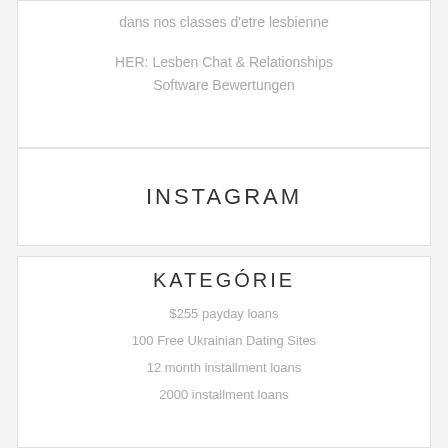dans nos classes d'etre lesbienne
HER: Lesben Chat & Relationships
Software Bewertungen
INSTAGRAM
KATEGÓRIE
$255 payday loans
100 Free Ukrainian Dating Sites
12 month installment loans
2000 installment loans